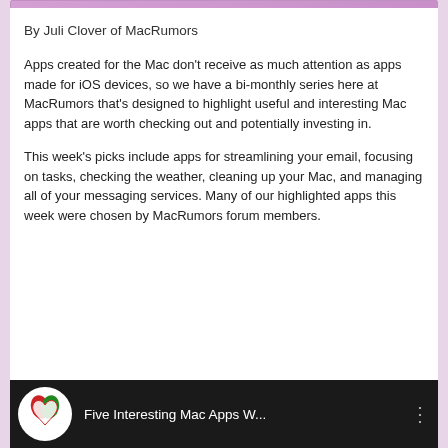By Juli Clover of MacRumors
Apps created for the Mac don’t receive as much attention as apps made for iOS devices, so we have a bi-monthly series here at MacRumors that’s designed to highlight useful and interesting Mac apps that are worth checking out and potentially investing in.
This week’s picks include apps for streamlining your email, focusing on tasks, checking the weather, cleaning up your Mac, and managing all of your messaging services. Many of our highlighted apps this week were chosen by MacRumors forum members.
[Figure (screenshot): Video thumbnail showing MacRumors logo and title 'Five Interesting Mac Apps W...' on dark background]